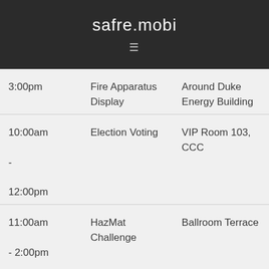safre.mobi
| 3:00pm | Fire Apparatus Display | Around Duke Energy Building |
| 10:00am - 12:00pm | Election Voting | VIP Room 103, CCC |
| 11:00am - 2:00pm | HazMat Challenge | Ballroom Terrace |